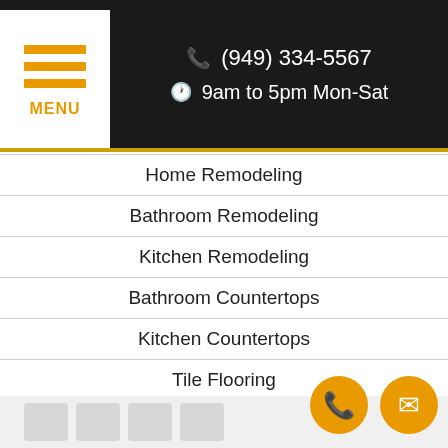(949) 334-5567 | 9am to 5pm Mon-Sat | MENU
Home Remodeling
Bathroom Remodeling
Kitchen Remodeling
Bathroom Countertops
Kitchen Countertops
Tile Flooring
Privacy Policy
Terms of Service
Contact Us